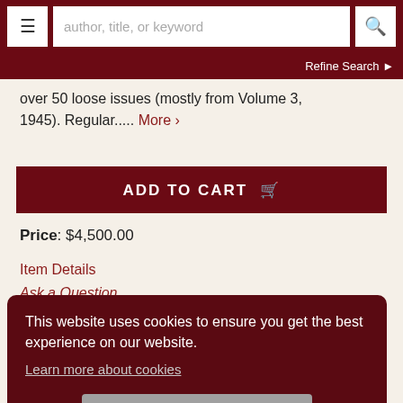author, title, or keyword | Refine Search
over 50 loose issues (mostly from Volume 3, 1945). Regular..... More ›
ADD TO CART
Price: $4,500.00
Item Details
Ask a Question
This website uses cookies to ensure you get the best experience on our website.
Learn more about cookies
ACCEPT COOKIES
OR
Compliments of Guinea Gold' above a